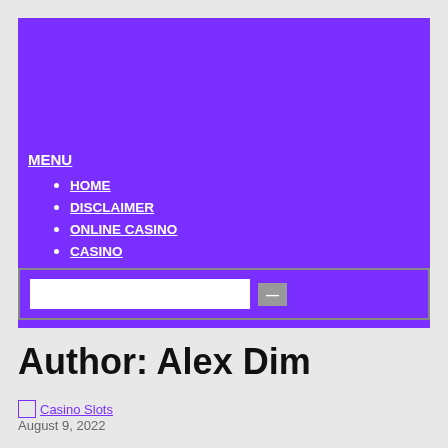MENU
HOME
DISCLAIMER
ONLINE CASINO
CASINO
GET IN TOUCH
Author: Alex Dim
Casino Slots
August 9, 2022